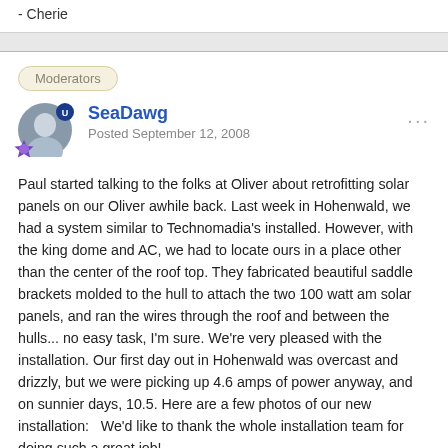- Cherie
Moderators
SeaDawg
Posted September 12, 2008
Paul started talking to the folks at Oliver about retrofitting solar panels on our Oliver awhile back. Last week in Hohenwald, we had a system similar to Technomadia's installed. However, with the king dome and AC, we had to locate ours in a place other than the center of the roof top. They fabricated beautiful saddle brackets molded to the hull to attach the two 100 watt am solar panels, and ran the wires through the roof and between the hulls... no easy task, I'm sure. We're very pleased with the installation. Our first day out in Hohenwald was overcast and drizzly, but we were picking up 4.6 amps of power anyway, and on sunnier days, 10.5. Here are a few photos of our new installation:   We'd like to thank the whole installation team for doing such a great job!
- Sherr;